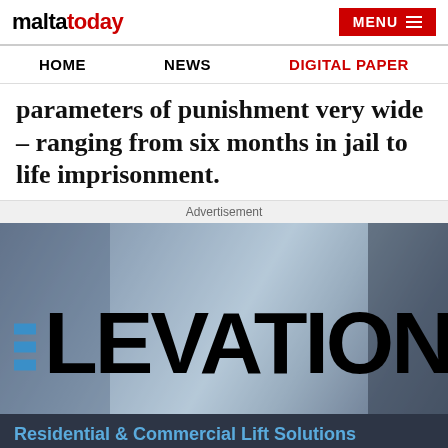maltatoday | MENU
HOME | NEWS | DIGITAL PAPER
parameters of punishment very wide – ranging from six months in jail to life imprisonment.
Advertisement
[Figure (illustration): Advertisement banner for Elevation lift solutions showing a person in an elevator with the word ELEVATION displayed in large bold text with blue stripe elements on the left side. Bottom section on dark blue background shows 'Residential & Commercial Lift Solutions' and 'Pitless, Roomless & Hydraulic Lifts' in blue text.]